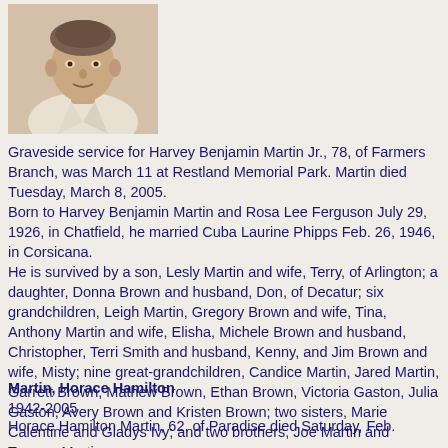[Figure (photo): Black and white or muted color portrait photo of Harvey Benjamin Martin Jr., an older man in a light colored shirt]
Graveside service for Harvey Benjamin Martin Jr., 78, of Farmers Branch, was March 11 at Restland Memorial Park. Martin died Tuesday, March 8, 2005.
Born to Harvey Benjamin Martin and Rosa Lee Ferguson July 29, 1926, in Chatfield, he married Cuba Laurine Phipps Feb. 26, 1946, in Corsicana.
He is survived by a son, Lesly Martin and wife, Terry, of Arlington; a daughter, Donna Brown and husband, Don, of Decatur; six grandchildren, Leigh Martin, Gregory Brown and wife, Tina, Anthony Martin and wife, Elisha, Michele Brown and husband, Christopher, Terri Smith and husband, Kenny, and Jim Brown and wife, Misty; nine great-grandchildren, Candice Martin, Jared Martin, Garrett Brown, Mathew Brown, Ethan Brown, Victoria Gaston, Julia Gaston, Avery Brown and Kristen Brown; two sisters, Marie Calentine and Gladys Ivy; and two brothers, Joe Martin and Truman Martin.
Published Sunday, March 13, 2005
Martin, Horace Hamilton
1942-2005
Horace Hamilton Martin, 62, of Paradise died Saturday, Feb.